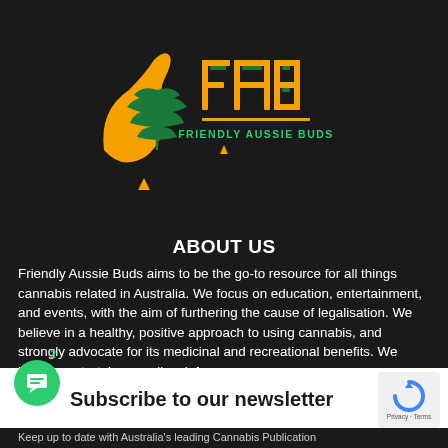[Figure (logo): Friendly Aussie Buds logo — orange kangaroo silhouette with green cannabis leaf, orange FAB lettering with green inner details, green 'FRIENDLY AUSSIE BUDS' text below]
ABOUT US
Friendly Aussie Buds aims to be the go-to resource for all things cannabis related in Australia. We focus on education, entertainment, and events, with the aim of furthering the cause of legalisation. We believe in a healthy, positive approach to using cannabis, and strongly advocate for its medicinal and recreational benefits. We hope to entertain as well as inform.
Subscribe to our newsletter
Keep up to date with Australia's leading Cannabis Publication